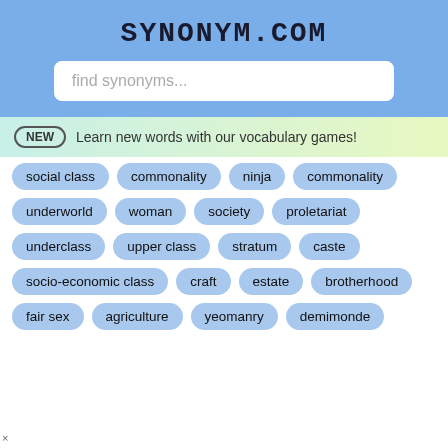SYNONYM.COM
find synonyms...
NEW  Learn new words with our vocabulary games!
social class
commonality
ninja
commonality
underworld
woman
society
proletariat
underclass
upper class
stratum
caste
socio-economic class
craft
estate
brotherhood
fair sex
agriculture
yeomanry
demimonde